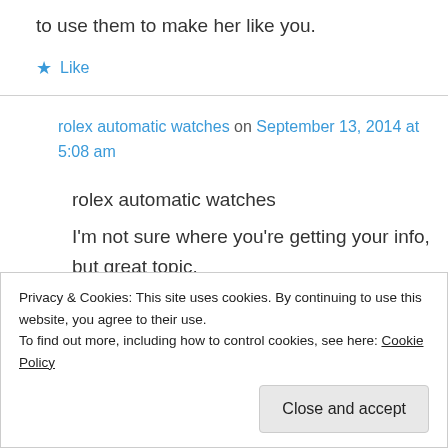to use them to make her like you.
★ Like
rolex automatic watches on September 13, 2014 at 5:08 am
rolex automatic watches
I'm not sure where you're getting your info, but great topic.
I needs to spend some time learning much more
Privacy & Cookies: This site uses cookies. By continuing to use this website, you agree to their use.
To find out more, including how to control cookies, see here: Cookie Policy
Close and accept